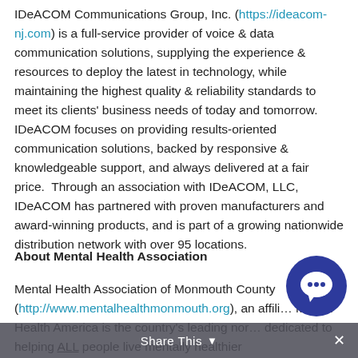IDeACOM Communications Group, Inc. (https://ideacom-nj.com) is a full-service provider of voice & data communication solutions, supplying the experience & resources to deploy the latest in technology, while maintaining the highest quality & reliability standards to meet its clients' business needs of today and tomorrow. IDeACOM focuses on providing results-oriented communication solutions, backed by responsive & knowledgeable support, and always delivered at a fair price.  Through an association with IDeACOM, LLC, IDeACOM has partnered with proven manufacturers and award-winning products, and is part of a growing nationwide distribution network with over 95 locations.
About Mental Health Association
Mental Health Association of Monmouth County (http://www.mentalhealthmonmouth.org), an affili... Mental Health America is the country's leading nor... dedicated to helping ALL people live mentally healthier